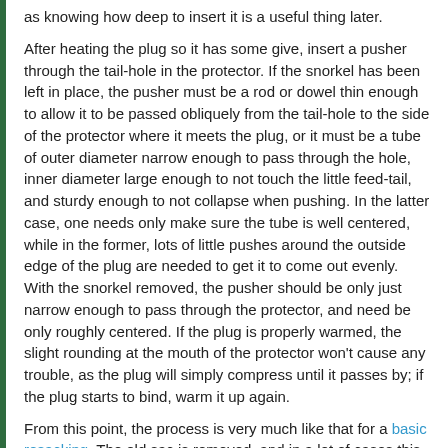as knowing how deep to insert it is a useful thing later.
After heating the plug so it has some give, insert a pusher through the tail-hole in the protector.  If the snorkel has been left in place, the pusher must be a rod or dowel thin enough to allow it to be passed obliquely from the tail-hole to the side of the protector where it meets the plug, or it must be a tube of outer diameter narrow enough to pass through the hole, inner diameter large enough to not touch the little feed-tail, and sturdy enough to not collapse when pushing.  In the latter case, one needs only make sure the tube is well centered, while in the former, lots of little pushes around the outside edge of the plug are needed to get it to come out evenly.  With the snorkel removed, the pusher should be only just narrow enough to pass through the protector, and need be only roughly centered.  If the plug is properly warmed, the slight rounding at the mouth of the protector won't cause any trouble, as the plug will simply compress until it passes by; if the plug starts to bind, warm it up again.
From this point, the process is very much like that for a basic resacking.  The old sac is removed, and in a lot of cases this is no more work than tipping the fragments out of the protector and chipping a few little bits off the nipple.
Sometimes, though, the old sac becomes bonded to the inside of the